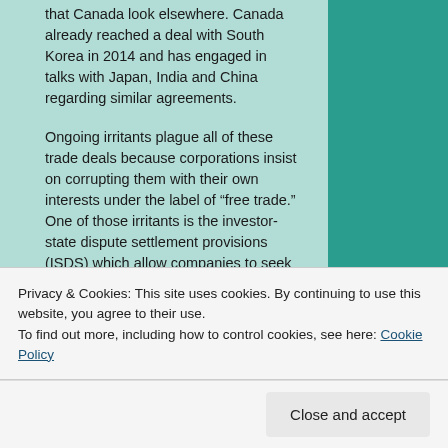that Canada look elsewhere. Canada already reached a deal with South Korea in 2014 and has engaged in talks with Japan, India and China regarding similar agreements.
Ongoing irritants plague all of these trade deals because corporations insist on corrupting them with their own interests under the label of “free trade.” One of those irritants is the investor-state dispute settlement provisions (ISDS) which allow companies to seek damages from governments when local regulations interfere with profit making.
Privacy & Cookies: This site uses cookies. By continuing to use this website, you agree to their use. To find out more, including how to control cookies, see here: Cookie Policy
Close and accept
rejected it. Then a secret NAFTA